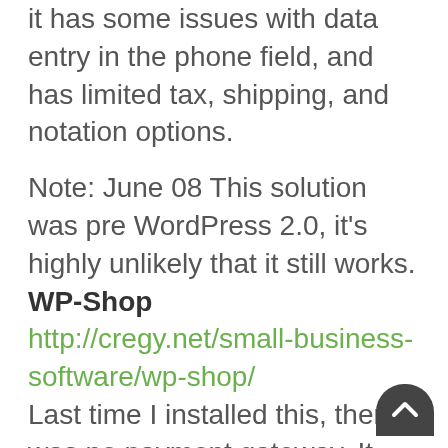it has some issues with data entry in the phone field, and has limited tax, shipping, and notation options.
Note: June 08 This solution was pre WordPress 2.0, it's highly unlikely that it still works.
WP-Shop http://cregy.net/small-business-software/wp-shop/ Last time I installed this, there was no payment gateway. It was the nicest integration of the three, but without checkout, it was